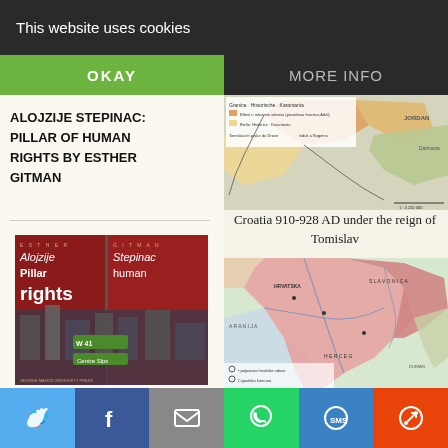This website uses cookies
OKAY
MORE INFO
ALOJZIJE STEPINAC: PILLAR OF HUMAN RIGHTS BY ESTHER GITMAN
[Figure (photo): Book cover: Alojzije Stepinac Pillar of human rights by Esther Gitman, red cover with city background]
[Figure (map): Historical map of Croatia 910-928 AD region, top portion]
Croatia 910-928 AD under the reign of Tomislav
[Figure (map): Historical map showing Croatia and surrounding regions with pink/rose coloring]